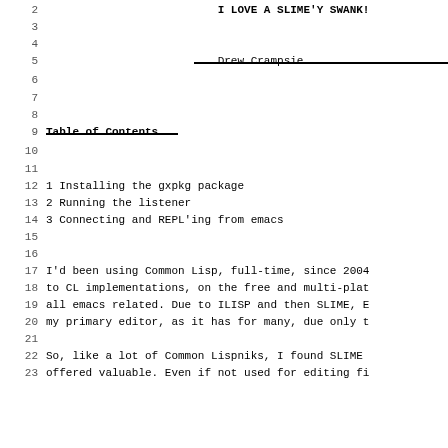I LOVE A SLIME'Y SWANK!
Drew Crampsie
Table of Contents
1 Installing the gxpkg package
2 Running the listener
3 Connecting and REPL'ing from emacs
I'd been using Common Lisp, full-time, since 2004 to CL implementations, on the free and multi-plat all emacs related. Due to ILISP and then SLIME, E my primary editor, as it has for many, due only t
So, like a lot of Common Lispniks, I found SLIME offered valuable. Even if not used for editing fi